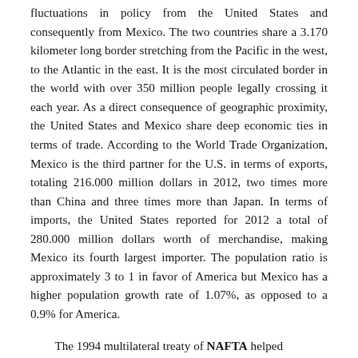fluctuations in policy from the United States and consequently from Mexico. The two countries share a 3.170 kilometer long border stretching from the Pacific in the west, to the Atlantic in the east. It is the most circulated border in the world with over 350 million people legally crossing it each year. As a direct consequence of geographic proximity, the United States and Mexico share deep economic ties in terms of trade. According to the World Trade Organization, Mexico is the third partner for the U.S. in terms of exports, totaling 216.000 million dollars in 2012, two times more than China and three times more than Japan. In terms of imports, the United States reported for 2012 a total of 280.000 million dollars worth of merchandise, making Mexico its fourth largest importer. The population ratio is approximately 3 to 1 in favor of America but Mexico has a higher population growth rate of 1.07%, as opposed to a 0.9% for America.
The 1994 multilateral treaty of NAFTA helped